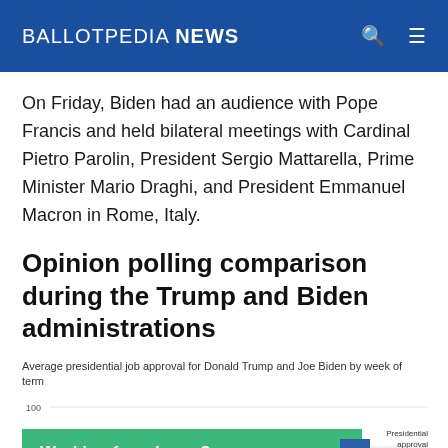BALLOTPEDIA NEWS
On Friday, Biden had an audience with Pope Francis and held bilateral meetings with Cardinal Pietro Parolin, President Sergio Mattarella, Prime Minister Mario Draghi, and President Emmanuel Macron in Rome, Italy.
Opinion polling comparison during the Trump and Biden administrations
Average presidential job approval for Donald Trump and Joe Biden by week of term
[Figure (line-chart): Partial line chart showing approval ratings over time, partially obscured by advertisement overlay. Y-axis shows values 60, 80, 100.]
Working from home?
Get your projects done on fiverr